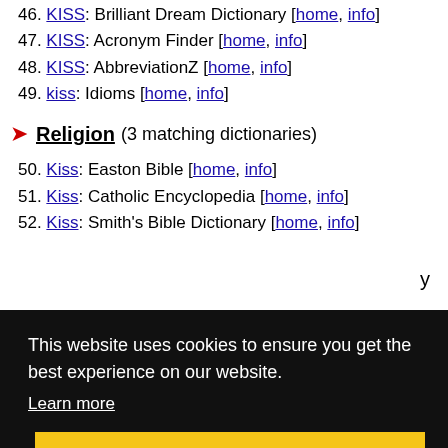46. KISS: Brilliant Dream Dictionary [home, info]
47. KISS: Acronym Finder [home, info]
48. KISS: AbbreviationZ [home, info]
49. kiss: Idioms [home, info]
Religion (3 matching dictionaries)
50. Kiss: Easton Bible [home, info]
51. Kiss: Catholic Encyclopedia [home, info]
52. Kiss: Smith's Bible Dictionary [home, info]
This website uses cookies to ensure you get the best experience on our website. Learn more Got it!
Sports (1 matching dictionary)